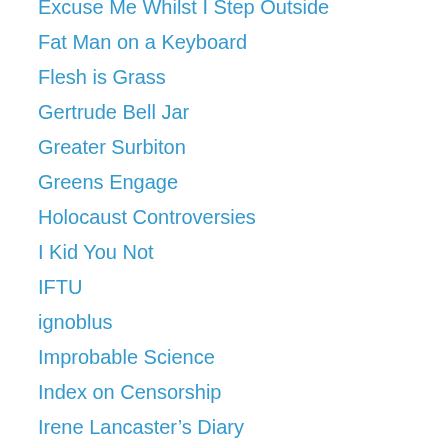Excuse Me Whilst I Step Outside
Fat Man on a Keyboard
Flesh is Grass
Gertrude Bell Jar
Greater Surbiton
Greens Engage
Holocaust Controversies
I Kid You Not
IFTU
ignoblus
Improbable Science
Index on Censorship
Irene Lancaster’s Diary
Jack of Kent
JHate
John-Paul Pagano
Judeosphere
Labour Friends of Iraq
Labour Start